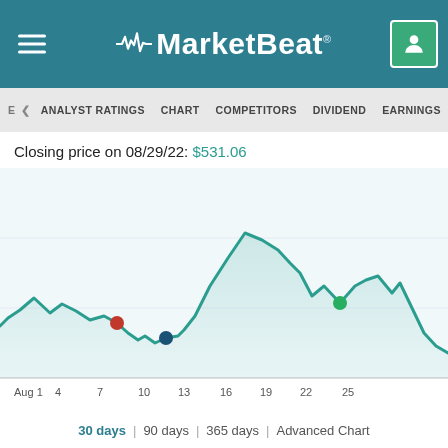MarketBeat
ANALYST RATINGS | CHART | COMPETITORS | DIVIDEND | EARNINGS | FINAN
Closing price on 08/29/22: $531.06
[Figure (continuous-plot): Line chart showing stock price over ~30 days in August 2022. The line starts relatively flat around Aug 1, has two small bumps, then dips around Aug 8-9. There is a red dot marker around Aug 8, a teal/dark dot around Aug 12, and a green dot around Aug 22. The price rises sharply from mid-August, peaks around Aug 19, dips around Aug 22, rises again with a smaller peak around Aug 25, then drops sharply toward Aug 29. X-axis labels: Aug 1, 4, 7, 10, 13, 16, 19, 22, 25.]
30 days | 90 days | 365 days | Advanced Chart